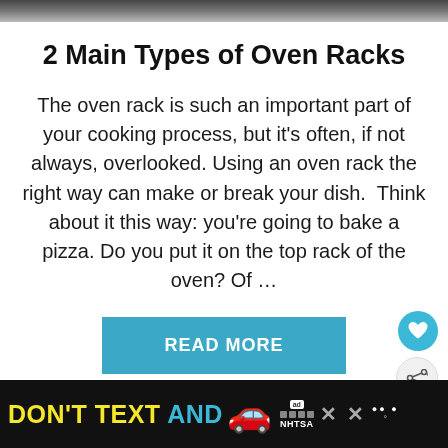[Figure (photo): Top partial image of oven rack, dark metallic tones]
2 Main Types of Oven Racks
The oven rack is such an important part of your cooking process, but it’s often, if not always, overlooked. Using an oven rack the right way can make or break your dish.  Think about it this way: you’re going to bake a pizza. Do you put it on the top rack of the oven? Of …
READ MORE
[Figure (infographic): Advertisement banner: DON'T TEXT AND [car emoji] with ad logo, NHTSA text and close buttons]